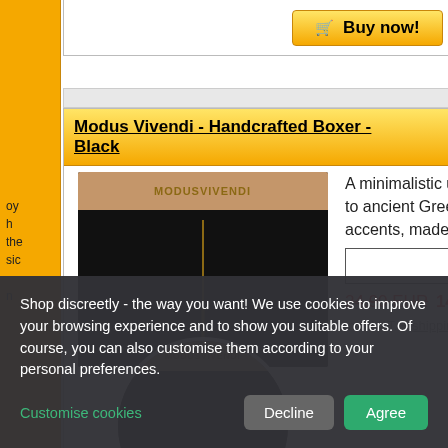[Figure (screenshot): E-commerce product page showing Modus Vivendi Handcrafted Boxer in Black, with product image, description, price, and buy buttons. Cookie consent banner overlaid at the bottom.]
Modus Vivendi - Handcrafted Boxer - Black
A minimalistic underwear style with reference to ancient Greek art, enhanced with golden accents, made of finest cotton. Brand ...
more info
24.90 EUR 14.90 EUR incl. VAT. + shipping costs
Shop discreetly - the way you want! We use cookies to improve your browsing experience and to show you suitable offers. Of course, you can also customise them according to your personal preferences.
Customise cookies
Decline
Agree